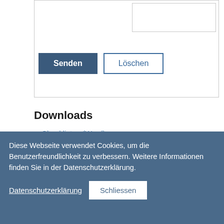[Figure (screenshot): Form area with input field, Senden and Löschen buttons]
Downloads
Checklisten (Word)
Checklisten (PDF)
Merkblätter (Word)
Merkblätter (PDF)
Vorlagen zum Hygienekonzept (Word)
Diese Webseite verwendet Cookies, um die Benutzerfreundlichkeit zu verbessern. Weitere Informationen finden Sie in der Datenschutzerklärung.
Datenschutzerklärung  Schliessen